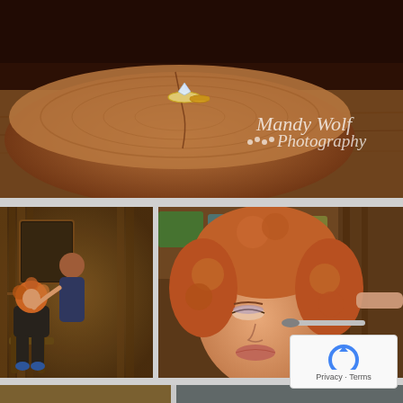[Figure (photo): Close-up of two wedding rings (engagement ring and band) resting on a rustic wooden log slice with burlap in the background. Overlay text reads 'Mandy Wolf Photography' with paw print icons.]
[Figure (photo): Woman with red curly hair seated in a rustic wooden room while a hairdresser works on her hair. Rustic barn-style interior.]
[Figure (photo): Close-up of a woman with curly red/auburn hair having makeup applied with a brush by an artist. Watermark: 'Mandy Wolf Photography' with paw prints.]
[Figure (photo): Partial view of a third row of photos at the bottom of the page, partially cut off.]